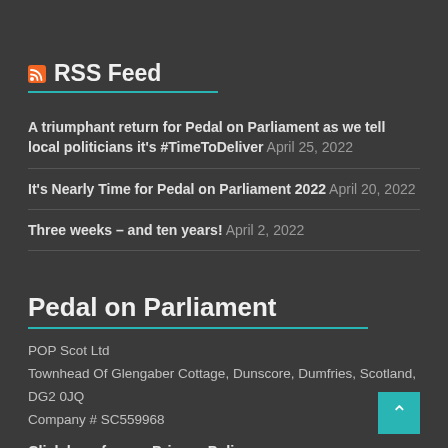RSS Feed
A triumphant return for Pedal on Parliament as we tell local politicians it's #TimeToDeliver April 25, 2022
It's Nearly Time for Pedal on Parliament 2022 April 20, 2022
Three weeks – and ten years! April 2, 2022
Pedal on Parliament
POP Scot Ltd
Townhead Of Glengaber Cottage, Dunscore, Dumfries, Scotland, DG2 0JQ
Company # SC559968
Click here for our Privacy Policy